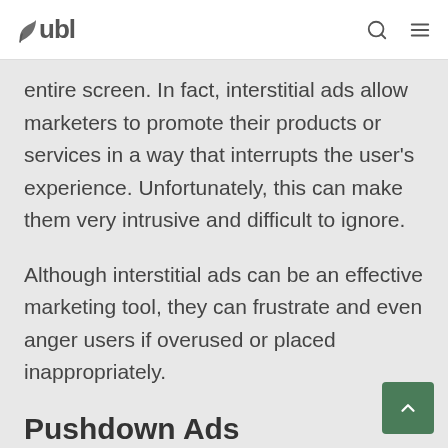tubl
entire screen. In fact, interstitial ads allow marketers to promote their products or services in a way that interrupts the user's experience. Unfortunately, this can make them very intrusive and difficult to ignore.
Although interstitial ads can be an effective marketing tool, they can frustrate and even anger users if overused or placed inappropriately.
Pushdown Ads